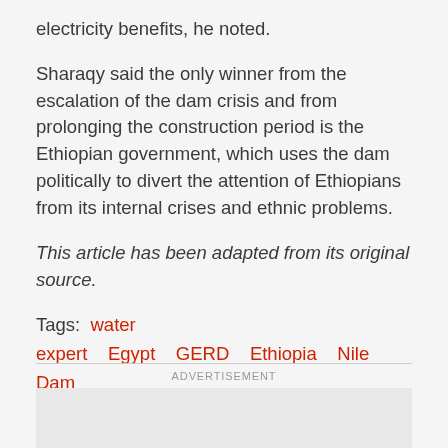electricity benefits, he noted.
Sharaqy said the only winner from the escalation of the dam crisis and from prolonging the construction period is the Ethiopian government, which uses the dam politically to divert the attention of Ethiopians from its internal crises and ethnic problems.
This article has been adapted from its original source.
Tags:  water  expert  Egypt  GERD  Ethiopia  Nile Dam